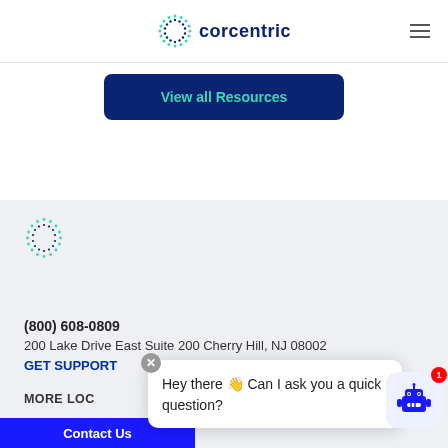corcentric
View all Resources
[Figure (logo): Corcentric logo mark only (small, in footer area)]
(800) 608-0809
200 Lake Drive East Suite 200 Cherry Hill, NJ 08002
GET SUPPORT
MORE LOCATIONS
Hey there 👋 Can I ask you a quick question?
Contact Us